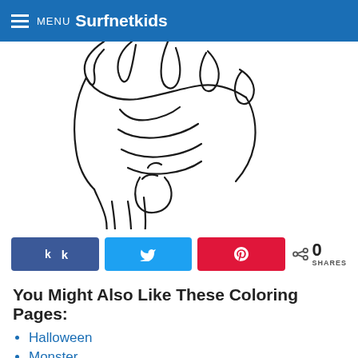MENU Surfnetkids
[Figure (illustration): Line drawing illustration of a monster or creature hand/claw, black outlines on white background, partially cropped at top]
[Figure (infographic): Social share buttons: Facebook (blue), Twitter (light blue), Pinterest (red), and share count showing 0 SHARES]
You Might Also Like These Coloring Pages:
Halloween
Monster
Dracula Boy